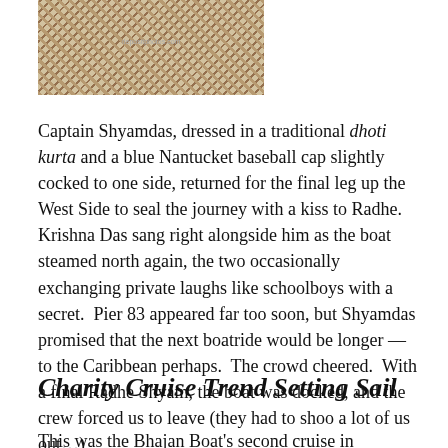[Figure (photo): A photo of fabric or textile with a floral/paisley pattern on a light beige background with a watermark visible.]
Captain Shyamdas, dressed in a traditional dhoti kurta and a blue Nantucket baseball cap slightly cocked to one side, returned for the final leg up the West Side to seal the journey with a kiss to Radhe.  Krishna Das sang right alongside him as the boat steamed north again, the two occasionally exchanging private laughs like schoolboys with a secret.  Pier 83 appeared far too soon, but Shyamdas promised that the next boatride would be longer — to the Caribbean perhaps.  The crowd cheered.  With a final Radhe Shyam, the boat was docked, and the crew forced us to leave (they had to shoo a lot of us out…)
Charity Cruise Trend Setting Sail
This was the Bhajan Boat's second cruise in Manhattan, but